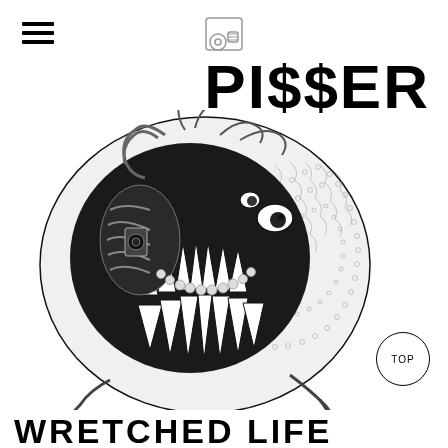PI$SER
[Figure (illustration): Black and white detailed illustration of a grotesque creature/alien face resembling a sphere with mechanical and organic elements: visible ribcage/grill on left side, multiple eyes, large teeth/fangs, tentacle-like appendages, and textured scaly surface]
TOP
WRETCHED LIFE